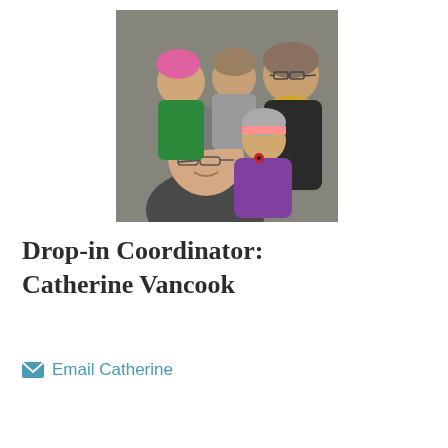[Figure (photo): Family photo showing five people outdoors against a concrete wall. A man in a grey knit beanie and glasses is in the foreground taking a selfie. Behind him are two children (one with pink hair in a green jacket, another in grey), a woman with glasses and a yellow scarf in dark jacket, and a young child in a purple jacket and grey hat with pink stripe.]
Drop-in Coordinator: Catherine Vancook
Email Catherine